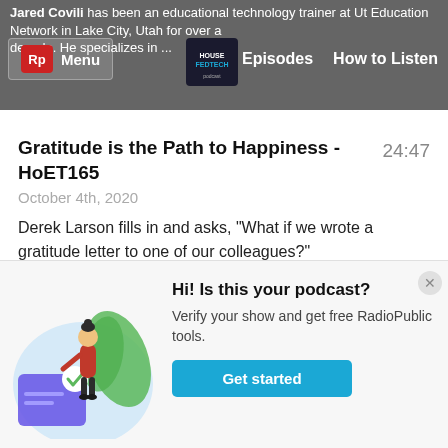Jared Covili has been an educational technology trainer at Utah Education Network in Lake City, Utah for over a decade. He specializes in ...
Gratitude is the Path to Happiness - HoET165
24:47
October 4th, 2020
Derek Larson fills in and asks, "What if we wrote a gratitude letter to one of our colleagues?"
** SUPPORT THE SHOW **
Become an Awesome Supporter!
[Figure (illustration): Illustration of a woman standing next to a large card with a checkmark, with green leaves in the background, inside a light blue circle]
Hi! Is this your podcast?
Verify your show and get free RadioPublic tools.
Get started